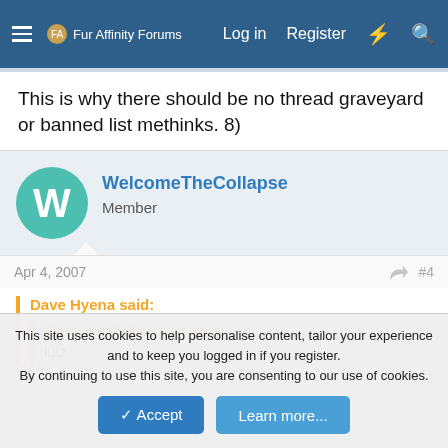Fur Affinity Forums — Log in  Register
This is why there should be no thread graveyard or banned list methinks. 8)
WelcomeTheCollapse
Member
Apr 4, 2007   #4
Dave Hyena said:
WelcomeTheCollapse said:
lulz
This site uses cookies to help personalise content, tailor your experience and to keep you logged in if you register.
By continuing to use this site, you are consenting to our use of cookies.